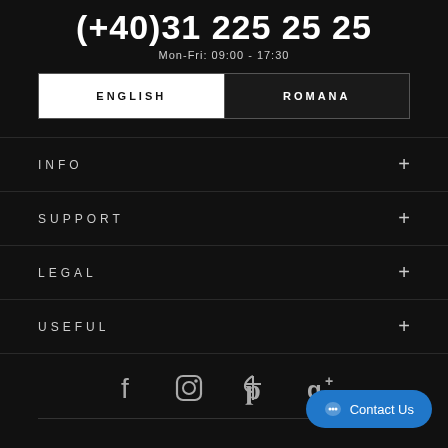(+40)31 225 25 25
Mon-Fri: 09:00 - 17:30
| ENGLISH | ROMANA |
| --- | --- |
INFO
SUPPORT
LEGAL
USEFUL
[Figure (other): Social media icons: Facebook, Instagram, Pinterest, Google+]
Contact Us